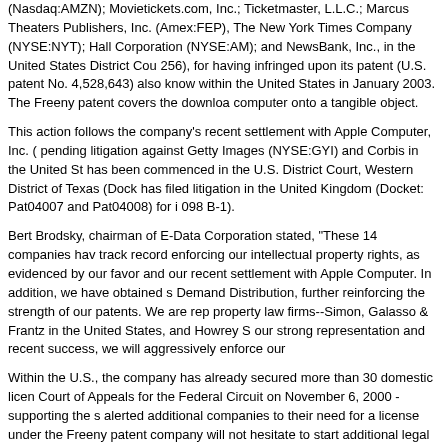(Nasdaq:AMZN); Movietickets.com, Inc.; Ticketmaster, L.L.C.; Marcus Theaters Publishers, Inc. (Amex:FEP), The New York Times Company (NYSE:NYT); Hall Corporation (NYSE:AM); and NewsBank, Inc., in the United States District Cou 256), for having infringed upon its patent (U.S. patent No. 4,528,643) also know within the United States in January 2003. The Freeny patent covers the downloa computer onto a tangible object.
This action follows the company's recent settlement with Apple Computer, Inc. ( pending litigation against Getty Images (NYSE:GYI) and Corbis in the United St has been commenced in the U.S. District Court, Western District of Texas (Dock has filed litigation in the United Kingdom (Docket: Pat04007 and Pat04008) for i 098 B-1).
Bert Brodsky, chairman of E-Data Corporation stated, "These 14 companies hav track record enforcing our intellectual property rights, as evidenced by our favor and our recent settlement with Apple Computer. In addition, we have obtained s Demand Distribution, further reinforcing the strength of our patents. We are rep property law firms--Simon, Galasso & Frantz in the United States, and Howrey S our strong representation and recent success, we will aggressively enforce our
Within the U.S., the company has already secured more than 30 domestic licen Court of Appeals for the Federal Circuit on November 6, 2000 - supporting the s alerted additional companies to their need for a license under the Freeny patent company will not hesitate to start additional legal actions if necessary.
Posted by Craig at August 5, 2004 11:30 PM
Main Site Pages
Kiosk Products | Standard Kiosks | Stealth kiosk | Thinman kiosk | Wedge kiosk | Stubby ki OEM Contract Manufacturing | About KIS | Service & Support | Questions & FAQ | News &
Applications and Vending
Photo Kiosks | Internet Pay For Use | Music Download | HR Kiosk | Ticketing Kiosk | Inform QuickPIX Kiosks | SnapTRAX Digital Kiosk | BurnASong Music Download Kiosk | Shibby K